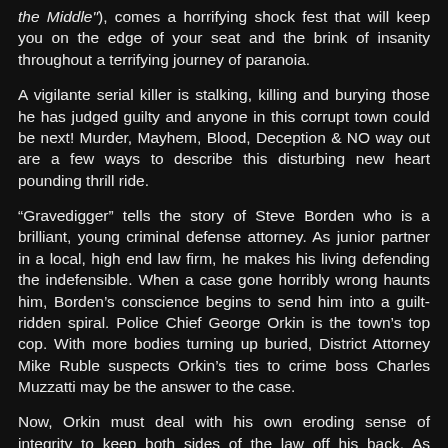the Middle"), comes a horrifying shock fest that will keep you on the edge of your seat and the brink of insanity throughout a terrifying journey of paranoia.
A vigilante serial killer is stalking, killing and burying those he has judged guilty and anyone in this corrupt town could be next! Murder, Mayhem, Blood, Deception & NO way out are a few ways to describe this disturbing new heart pounding thrill ride.
“Gravedigger” tells the story of Steve Borden who is a brilliant, young criminal defense attorney. As junior partner in a local, high end law firm, he makes his living defending the indefensible. When a case gone horribly wrong haunts him, Borden’s conscience begins to send him into a guilt-ridden spiral. Police Chief George Orkin is the town’s top cop. With more bodies turning up buried, District Attorney Mike Ruble suspects Orkin’s ties to crime boss Charles Muzzatti may be the answer to the case.
Now, Orkin must deal with his own eroding sense of integrity to keep both sides of the law off his back. As paranoia rises